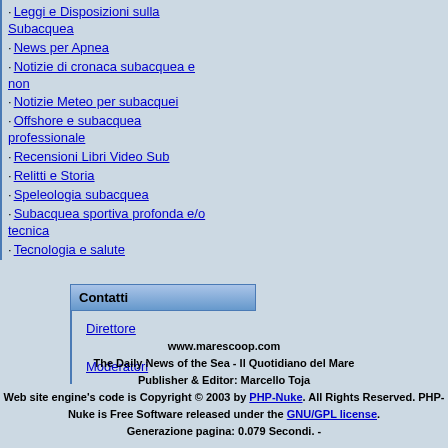Leggi e Disposizioni sulla Subacquea
News per Apnea
Notizie di cronaca subacquea e non
Notizie Meteo per subacquei
Offshore e subacquea professionale
Recensioni Libri Video Sub
Relitti e Storia
Speleologia subacquea
Subacquea sportiva profonda e/o tecnica
Tecnologia e salute
Contatti
Direttore
Moderatori
www.marescoop.com
The Daily News of the Sea - Il Quotidiano del Mare
Publisher & Editor: Marcello Toja
Web site engine's code is Copyright © 2003 by PHP-Nuke. All Rights Reserved. PHP-Nuke is Free Software released under the GNU/GPL license.
Generazione pagina: 0.079 Secondi. -